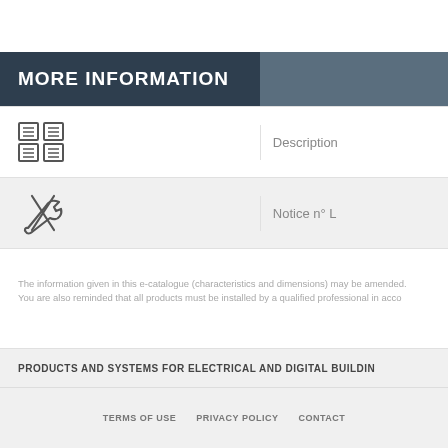MORE INFORMATION
[Figure (other): Grid/catalogue icon representing product description document]
Description
[Figure (other): Wrench and screwdriver cross tool icon representing installation notice]
Notice n° L
The information given in this e-catalogue (characteristics and dimensions) may be amended. You are also reminded that all products must be installed by a qualified professional in acco
PRODUCTS AND SYSTEMS FOR ELECTRICAL AND DIGITAL BUILDIN
TERMS OF USE   PRIVACY POLICY   CONTACT